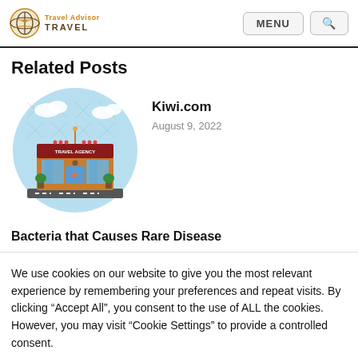Travel Advisor TRAVEL — MENU [search]
Related Posts
[Figure (illustration): Illustration of a travel agency building with a round blue background, clouds, and a storefront labeled 'TRAVEL AGENCY']
Kiwi.com
August 9, 2022
Bacteria that Causes Rare Disease
We use cookies on our website to give you the most relevant experience by remembering your preferences and repeat visits. By clicking “Accept All”, you consent to the use of ALL the cookies. However, you may visit “Cookie Settings” to provide a controlled consent.
Cookie Settings    Accept All